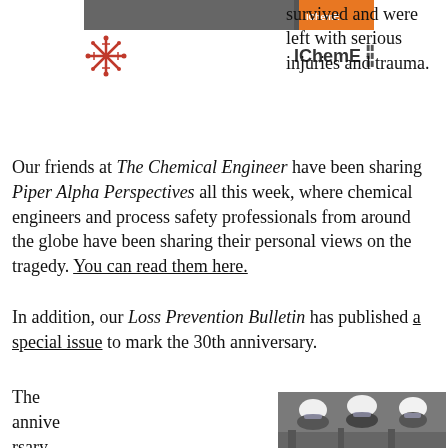[Figure (illustration): Top banner with photograph of industrial facility and orange IChemE branding strip]
[Figure (logo): IChemE logos: orange snowflake/asterisk logo on left, IChemE text logo on right]
survived and were left with serious injuries and trauma.
Our friends at The Chemical Engineer have been sharing Piper Alpha Perspectives all this week, where chemical engineers and process safety professionals from around the globe have been sharing their personal views on the tragedy. You can read them here.
In addition, our Loss Prevention Bulletin has published a special issue to mark the 30th anniversary.
The anniversary
[Figure (photo): Group of workers in white hard hats and safety goggles at an industrial facility]